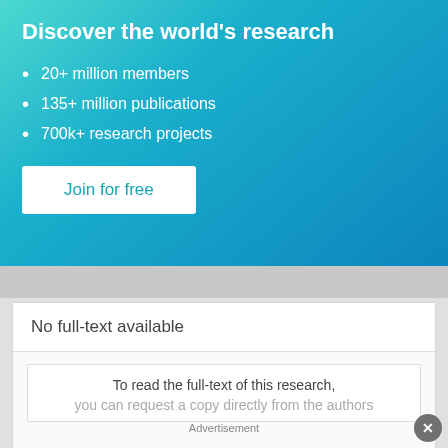Discover the world's research
20+ million members
135+ million publications
700k+ research projects
Join for free
No full-text available
To read the full-text of this research,
you can request a copy directly from the authors
Advertisement